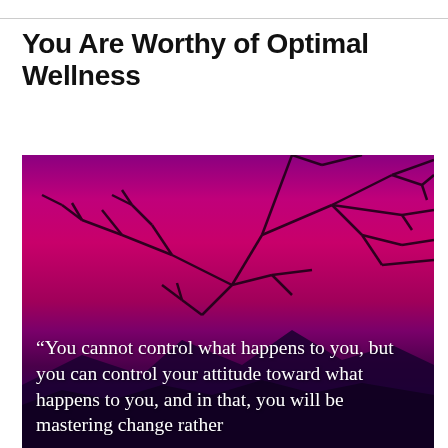You Are Worthy of Optimal Wellness
[Figure (illustration): Photograph of bare tree branches silhouetted against a vibrant purple/magenta sunset sky with dark mountain silhouettes at the bottom. A motivational quote is overlaid in white serif text.]